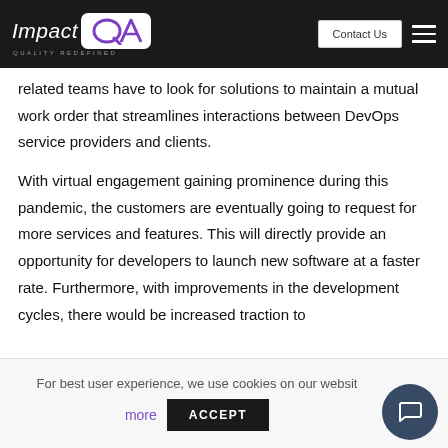Impact QA — Quality Redefined | Contact Us
related teams have to look for solutions to maintain a mutual work order that streamlines interactions between DevOps service providers and clients.
With virtual engagement gaining prominence during this pandemic, the customers are eventually going to request for more services and features. This will directly provide an opportunity for developers to launch new software at a faster rate. Furthermore, with improvements in the development cycles, there would be increased traction to
For best user experience, we use cookies on our website. more ACCEPT